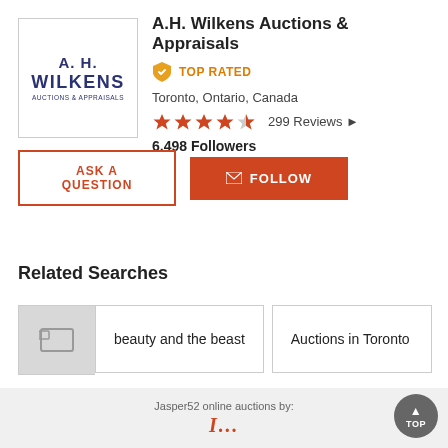[Figure (logo): A.H. Wilkens Auctions & Appraisals logo — dark blue text in a white box with border]
A.H. Wilkens Auctions & Appraisals
TOP RATED
Toronto, Ontario, Canada
299 Reviews
6,498 Followers
ASK A QUESTION
✉ FOLLOW
Related Searches
beauty and the beast
Auctions in Toronto
Jasper52 online auctions by: